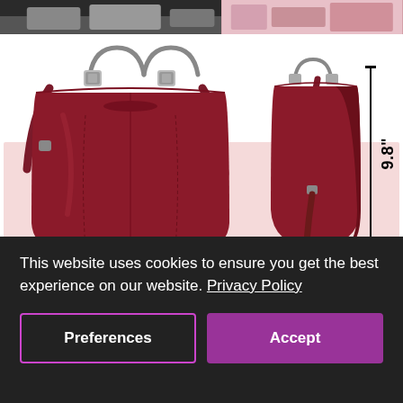[Figure (photo): Top strip showing partial product photos — dark background on left, pink/red textile on right]
[Figure (photo): Dark red/burgundy leather handbag (front view, left) and side view (right) with dimension measurements: 11.8 inches wide, 4.7 inches deep, 9.8 inches tall]
11.8"
4.7"
9.8"
This website uses cookies to ensure you get the best experience on our website. Privacy Policy
Preferences
Accept